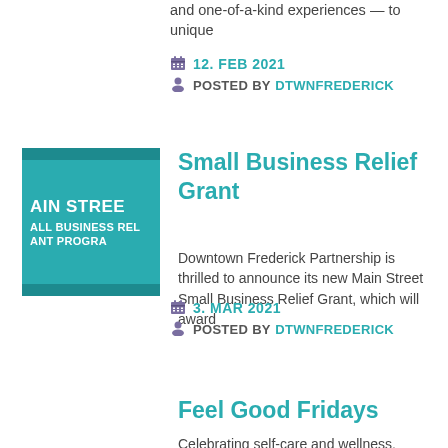and one-of-a-kind experiences — to unique
12. FEB 2021
POSTED BY DTWNFREDERICK
[Figure (logo): Teal square logo with white text: MAIN STREET / ALL BUSINESS RELIEF GRANT PROGRAM]
Small Business Relief Grant
Downtown Frederick Partnership is thrilled to announce its new Main Street Small Business Relief Grant, which will award
3. MAR 2021
POSTED BY DTWNFREDERICK
Feel Good Fridays
Celebrating self-care and wellness. Fre...